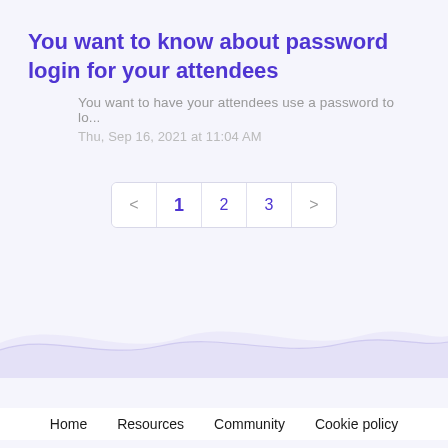You want to know about password login for your attendees
You want to have your attendees use a password to lo...
Thu, Sep 16, 2021 at 11:04 AM
< 1 2 3 >
[Figure (illustration): Decorative wave divider in light purple/lavender tones]
Home   Resources   Community   Cookie policy